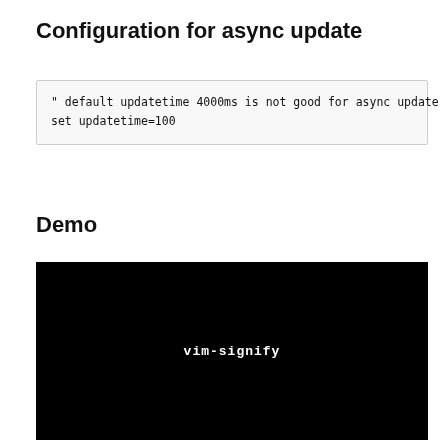Configuration for async update
" default updatetime 4000ms is not good for async update
set updatetime=100
Demo
[Figure (screenshot): Black terminal screen showing the text 'vim-signify' in white monospace font centered on the screen]